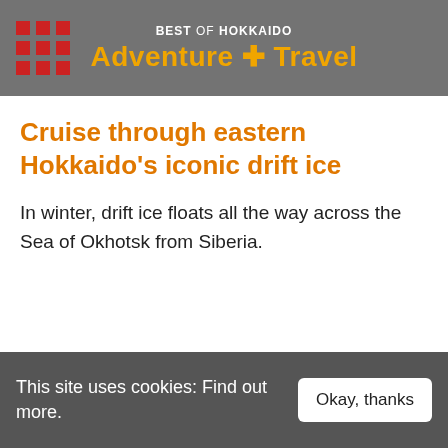BEST of HOKKAIDO Adventure Travel
Cruise through eastern Hokkaido's iconic drift ice
In winter, drift ice floats all the way across the Sea of Okhotsk from Siberia.
This site uses cookies: Find out more.